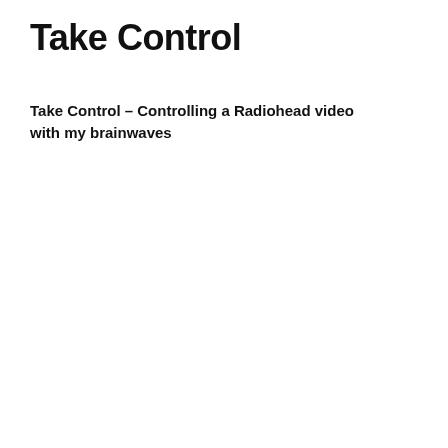Take Control
Take Control – Controlling a Radiohead video with my brainwaves